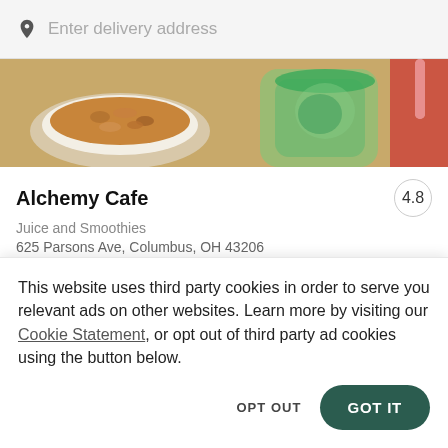Enter delivery address
[Figure (photo): Food photo showing a bowl of granola/cereal, a green drink in a clear cup, and a red item partially visible on the right, on a wooden surface]
Alchemy Cafe
4.8
Juice and Smoothies
625 Parsons Ave, Columbus, OH 43206
Check out the best Obetz restaurants
This website uses third party cookies in order to serve you relevant ads on other websites. Learn more by visiting our Cookie Statement, or opt out of third party ad cookies using the button below.
OPT OUT
GOT IT